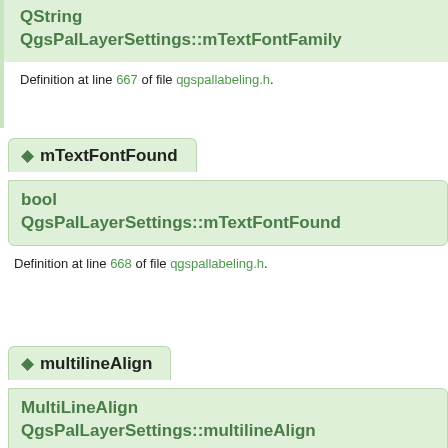QString QgsPalLayerSettings::mTextFontFamily
Definition at line 667 of file qgspallabeling.h.
◆ mTextFontFound
bool QgsPalLayerSettings::mTextFontFound
Definition at line 668 of file qgspallabeling.h.
◆ multilineAlign
MultiLineAlign QgsPalLayerSettings::multilineAlign